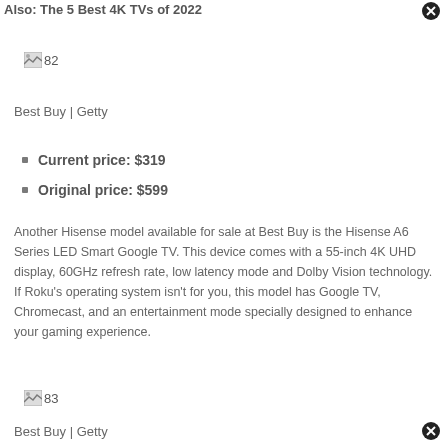Also: The 5 Best 4K TVs of 2022
[Figure (photo): Image placeholder labeled 82]
Best Buy | Getty
Current price: $319
Original price: $599
Another Hisense model available for sale at Best Buy is the Hisense A6 Series LED Smart Google TV. This device comes with a 55-inch 4K UHD display, 60GHz refresh rate, low latency mode and Dolby Vision technology. If Roku's operating system isn't for you, this model has Google TV, Chromecast, and an entertainment mode specially designed to enhance your gaming experience.
[Figure (photo): Image placeholder labeled 83]
Best Buy | Getty